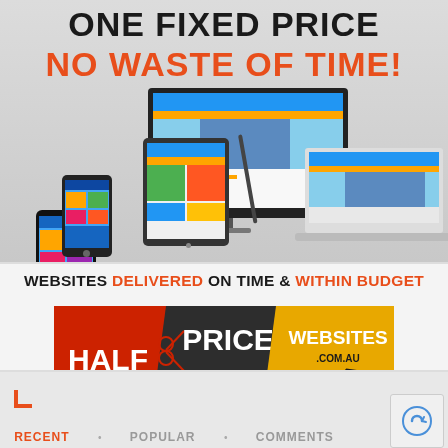ONE FIXED PRICE
NO WASTE OF TIME!
[Figure (illustration): Multiple device mockups (desktop monitor, tablet, smartphone, laptop) showing a colorful website with London Bridge imagery]
WEBSITES DELIVERED ON TIME & WITHIN BUDGET
[Figure (logo): Half Price Websites .com.au logo with red HALF, dark PRICE, and yellow WEBSITES sections with scissors icon]
RECENT • POPULAR • COMMENTS